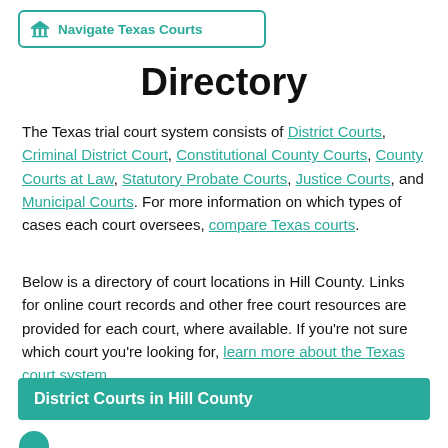Navigate Texas Courts
Directory
The Texas trial court system consists of District Courts, Criminal District Court, Constitutional County Courts, County Courts at Law, Statutory Probate Courts, Justice Courts, and Municipal Courts. For more information on which types of cases each court oversees, compare Texas courts.
Below is a directory of court locations in Hill County. Links for online court records and other free court resources are provided for each court, where available. If you're not sure which court you're looking for, learn more about the Texas court system.
District Courts in Hill County